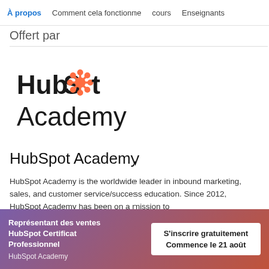À propos   Comment cela fonctionne   cours   Enseignants
Offert par
[Figure (logo): HubSpot Academy logo: 'HubSpot' in dark text with an orange sprocket icon replacing the 'o', and 'Academy' below in large dark text.]
HubSpot Academy
HubSpot Academy is the worldwide leader in inbound marketing, sales, and customer service/success education. Since 2012, HubSpot Academy has been on a mission to
Représentant des ventes HubSpot Certificat Professionnel
HubSpot Academy
S'inscrire gratuitement
Commence le 21 août